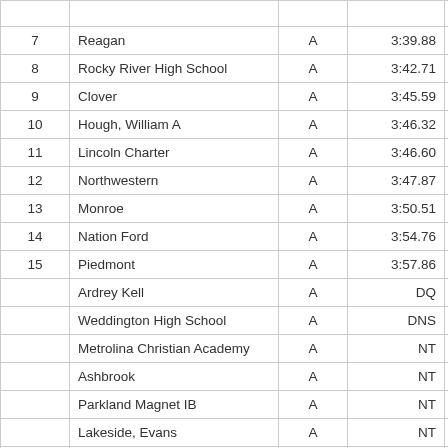|  | Name | Div | Time | Pts | Heat |
| --- | --- | --- | --- | --- | --- |
| 7 | Reagan | A | 3:39.88 | 2 | 2 (1) |
| 8 | Rocky River High School | A | 3:42.71 | 1 | 1 (2) |
| 9 | Clover | A | 3:45.59 |  | 1 (3) |
| 10 | Hough, William A | A | 3:46.32 |  | 3 (6) |
| 11 | Lincoln Charter | A | 3:46.60 |  | 3 (7) |
| 12 | Northwestern | A | 3:47.87 |  | 1 (4) |
| 13 | Monroe | A | 3:50.51 |  | 2 (2) |
| 14 | Nation Ford | A | 3:54.76 |  | 2 (3) |
| 15 | Piedmont | A | 3:57.86 |  | 1 (5) |
|  | Ardrey Kell | A | DQ |  |  |
|  | Weddington High School | A | DNS |  |  |
|  | Metrolina Christian Academy | A | NT |  |  |
|  | Ashbrook | A | NT |  |  |
|  | Parkland Magnet IB | A | NT |  |  |
|  | Lakeside, Evans | A | NT |  |  |
|  | Mountain Island Charter School | A | NT |  |  |
|  | Butler | A | NT |  |  |